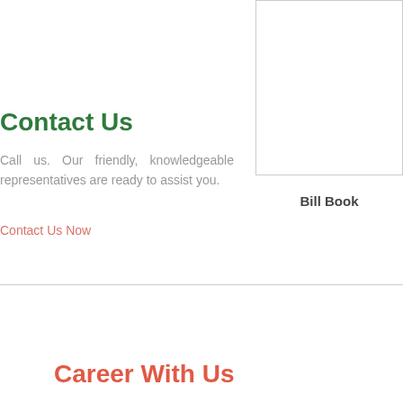[Figure (other): Bordered box area, partially visible, representing a Bill Book image placeholder in the top-right of the page]
Bill Book
Contact Us
Call us. Our friendly, knowledgeable representatives are ready to assist you.
Contact Us Now
Career With Us